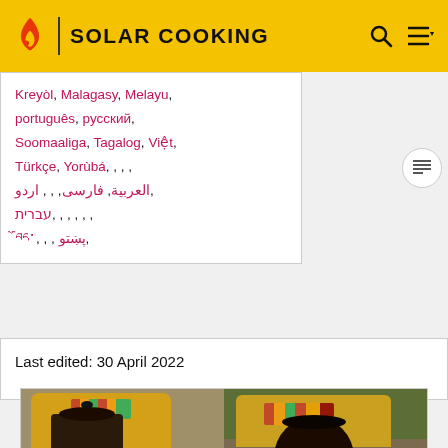SOLAR COOKING
Kreyòl, Malagasy, Melayu, português, русский, Soomaaliga, Tagalog, Việt, Türkçe, Yorùbá, العربية, فارسى, اردو, עברית, བོད་, پښتو
Last edited: 30 April 2022
[Figure (photo): Two photos side by side showing a dark cooking pot wrapped in yellow fabric with colorful textile, placed on ground outside, used as a retained-heat cooker.]